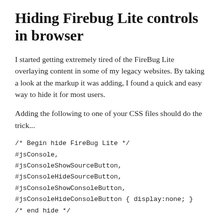Hiding Firebug Lite controls in browser
I started getting extremely tired of the FireBug Lite overlaying content in some of my legacy websites. By taking a look at the markup it was adding, I found a quick and easy way to hide it for most users.
Adding the following to one of your CSS files should do the trick...